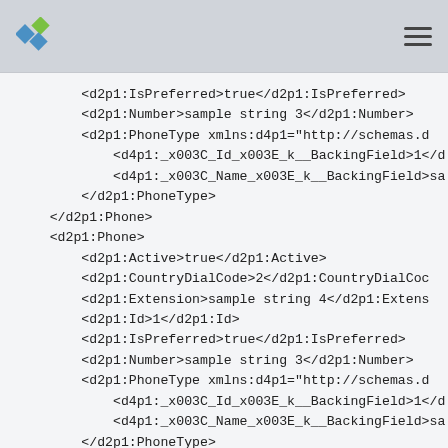[logo] [hamburger menu]
<d2p1:IsPreferred>true</d2p1:IsPreferred>
            <d2p1:Number>sample string 3</d2p1:Number>
            <d2p1:PhoneType xmlns:d4p1="http://schemas.d
                <d4p1:_x003C_Id_x003E_k__BackingField>1</d
                <d4p1:_x003C_Name_x003E_k__BackingField>sa
            </d2p1:PhoneType>
        </d2p1:Phone>
        <d2p1:Phone>
            <d2p1:Active>true</d2p1:Active>
            <d2p1:CountryDialCode>2</d2p1:CountryDialCoc
            <d2p1:Extension>sample string 4</d2p1:Extens
            <d2p1:Id>1</d2p1:Id>
            <d2p1:IsPreferred>true</d2p1:IsPreferred>
            <d2p1:Number>sample string 3</d2p1:Number>
            <d2p1:PhoneType xmlns:d4p1="http://schemas.d
                <d4p1:_x003C_Id_x003E_k__BackingField>1</d
                <d4p1:_x003C_Name_x003E_k__BackingField>sa
            </d2p1:PhoneType>
        </d2p1:Phone>
    </Phones>
</Contact>